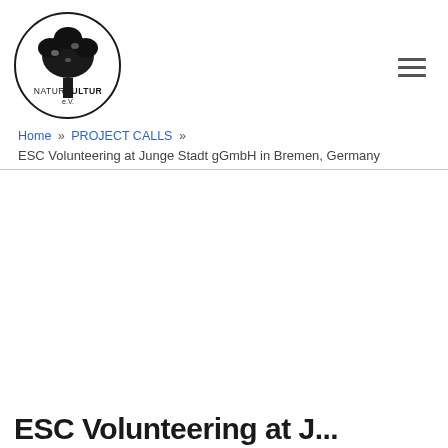[Figure (logo): NaturKultur e.V. circular logo with tree illustration]
Home » PROJECT CALLS »
ESC Volunteering at Junge Stadt gGmbH in Bremen, Germany
ESC Volunteering at Junge Stadt...